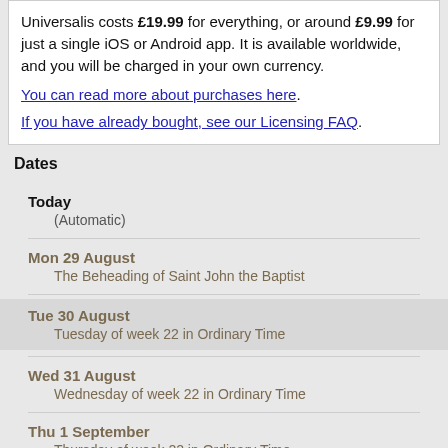Universalis costs £19.99 for everything, or around £9.99 for just a single iOS or Android app. It is available worldwide, and you will be charged in your own currency.
You can read more about purchases here.
If you have already bought, see our Licensing FAQ.
Dates
Today
(Automatic)
Mon 29 August
The Beheading of Saint John the Baptist
Tue 30 August
Tuesday of week 22 in Ordinary Time
Wed 31 August
Wednesday of week 22 in Ordinary Time
Thu 1 September
Thursday of week 22 in Ordinary Time